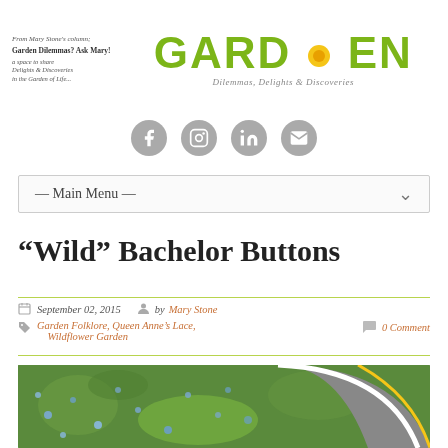From Mary Stone's column; Garden Dilemmas? Ask Mary! a space to share Delights & Discoveries in the Garden of Life...
[Figure (logo): GARDEN logo in green bold text with yellow flower accent, subtitle: Dilemmas, Delights & Discoveries]
[Figure (infographic): Social media icons: Facebook, Instagram, LinkedIn, Email - grey circular buttons]
— Main Menu —
“Wild” Bachelor Buttons
September 02, 2015 by Mary Stone
Garden Folklore, Queen Anne’s Lace, Wildflower Garden
0 Comment
[Figure (photo): Wild blue flowers growing along roadside with curved road and yellow center line visible]